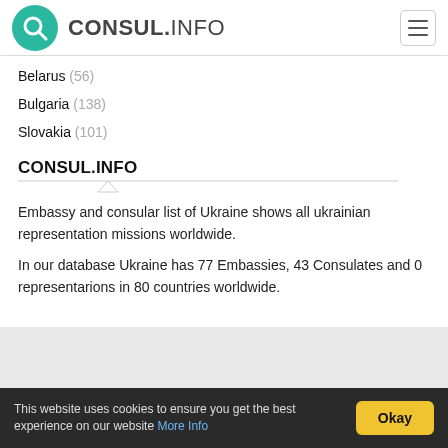[Figure (logo): CONSUL.INFO logo with teal search icon circle and hamburger menu button]
Belarus (56)
Bulgaria (138)
Slovakia (101)
CONSUL.INFO
Embassy and consular list of Ukraine shows all ukrainian representation missions worldwide.
In our database Ukraine has 77 Embassies, 43 Consulates and 0 representarions in 80 countries worldwide.
This website uses cookies to ensure you get the best experience on our website More Info